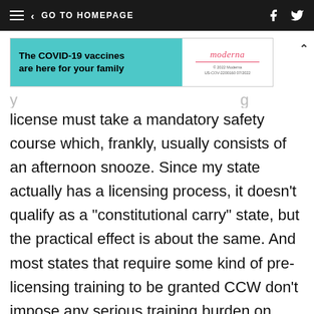GO TO HOMEPAGE
[Figure (other): Moderna COVID-19 vaccine advertisement banner. Left side is teal with bold text 'The COVID-19 vaccines are here for your family'. Right side shows Moderna logo in pink/red italic font with fine print.]
license must take a mandatory safety course which, frankly, usually consists of an afternoon snooze. Since my state actually has a licensing process, it doesn't qualify as a "constitutional carry" state, but the practical effect is about the same. And most states that require some kind of pre-licensing training to be granted CCW don't impose any serious training burden on CCW candidates at all. My state, for example, doesn't require any live fire exercise during the mandatory safety course; Florida requires that the CCW candidate actually pull the trigger once.